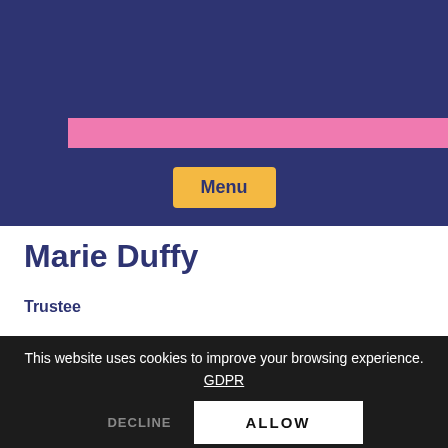[Figure (screenshot): Website header with pink background and dark navy blue rectangular blocks forming a decorative geometric pattern]
[Figure (screenshot): Dark navy blue navigation bar with a golden/amber 'Menu' button centered]
Marie Duffy
Trustee
This website uses cookies to improve your browsing experience. GDPR
DECLINE
ALLOW